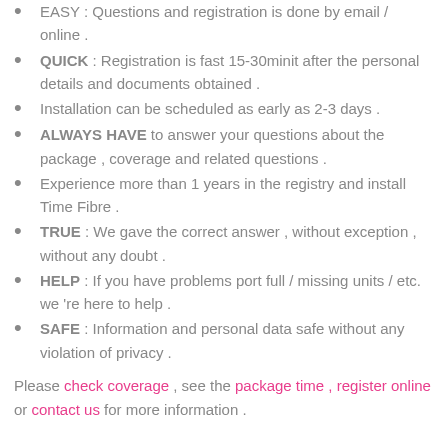EASY : Questions and registration is done by email / online .
QUICK : Registration is fast 15-30minit after the personal details and documents obtained .
Installation can be scheduled as early as 2-3 days .
ALWAYS HAVE to answer your questions about the package , coverage and related questions .
Experience more than 1 years in the registry and install Time Fibre .
TRUE : We gave the correct answer , without exception , without any doubt .
HELP : If you have problems port full / missing units / etc. we 're here to help .
SAFE : Information and personal data safe without any violation of privacy .
Please check coverage , see the package time , register online or contact us for more information .